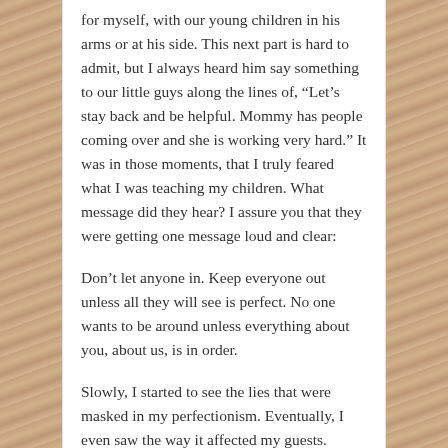for myself, with our young children in his arms or at his side. This next part is hard to admit, but I always heard him say something to our little guys along the lines of, “Let’s stay back and be helpful. Mommy has people coming over and she is working very hard.” It was in those moments, that I truly feared what I was teaching my children. What message did they hear? I assure you that they were getting one message loud and clear:
Don’t let anyone in. Keep everyone out unless all they will see is perfect. No one wants to be around unless everything about you, about us, is in order.
Slowly, I started to see the lies that were masked in my perfectionism. Eventually, I even saw the way it affected my guests. Friends would rave about my housekeeping and all would be well until I would